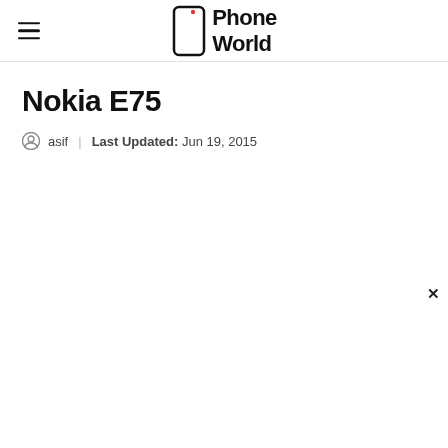Phone World
Nokia E75
asif   Last Updated: Jun 19, 2015